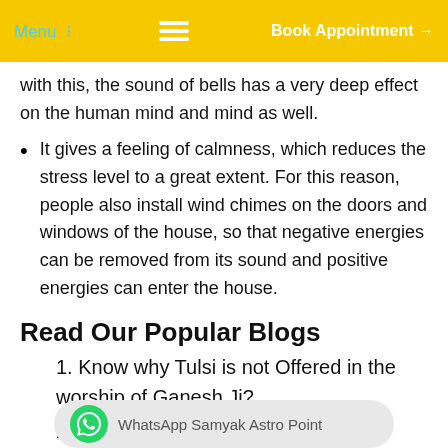Menu | [hamburger] | Book Appointment →
with this, the sound of bells has a very deep effect on the human mind and mind as well.
It gives a feeling of calmness, which reduces the stress level to a great extent. For this reason, people also install wind chimes on the doors and windows of the house, so that negative energies can be removed from its sound and positive energies can enter the house.
Read Our Popular Blogs
1. Know why Tulsi is not Offered in the worship of Ganesh Ji?
2. Know wh... your palm says about your life?